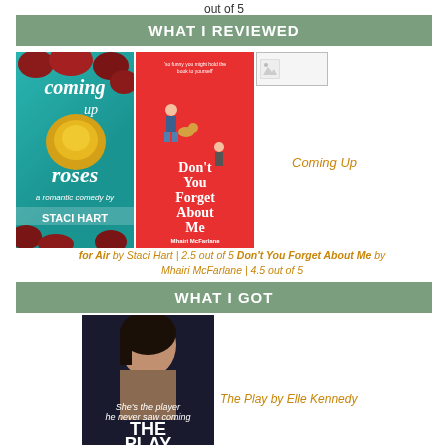out of 5
WHAT I REVIEWED
[Figure (photo): Book cover: Coming Up Roses by Staci Hart - teal background with roses]
[Figure (photo): Book cover: Don't You Forget About Me by Mhairi McFarlane - pink/red cover]
[Figure (photo): Placeholder image thumbnail]
Coming Up
for Air by Staci Hart | 2.5 out of 5 Don't You Forget About Me by Mhairi McFarlane | 4.5 out of 5
WHAT I GOT
[Figure (photo): Book cover: The Play by Elle Kennedy - dark moody cover with woman]
The Play by Elle Kennedy